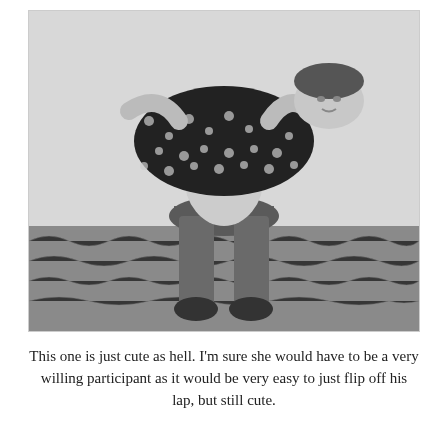[Figure (photo): Black and white photograph of two people, one sitting on a chair and another draped across their lap, in an indoor setting with a patterned carpet floor.]
This one is just cute as hell. I'm sure she would have to be a very willing participant as it would be very easy to just flip off his lap, but still cute.